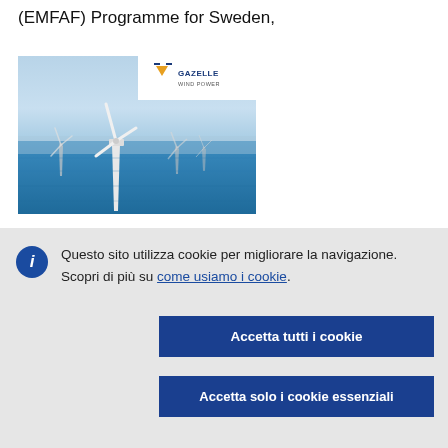(EMFAF) Programme for Sweden,
[Figure (photo): Offshore wind farm with multiple wind turbines in open sea, with a Gazelle Wind Power logo overlay in the top right corner of the image.]
Questo sito utilizza cookie per migliorare la navigazione. Scopri di più su come usiamo i cookie.
Accetta tutti i cookie
Accetta solo i cookie essenziali